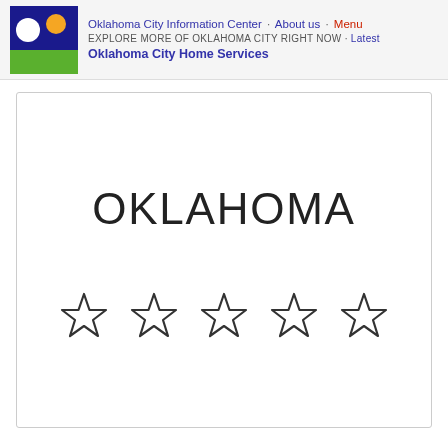Oklahoma City Information Center · About us · Menu
EXPLORE MORE OF OKLAHOMA CITY RIGHT NOW · Latest
Oklahoma City Home Services
OKLAHOMA
[Figure (other): Five empty star rating icons arranged in a row]